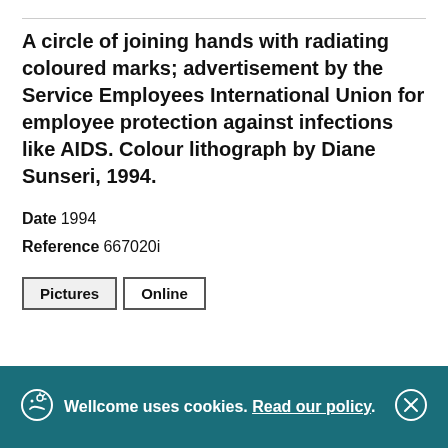A circle of joining hands with radiating coloured marks; advertisement by the Service Employees International Union for employee protection against infections like AIDS. Colour lithograph by Diane Sunseri, 1994.
Date  1994
Reference  667020i
Pictures  Online
Wellcome uses cookies. Read our policy.